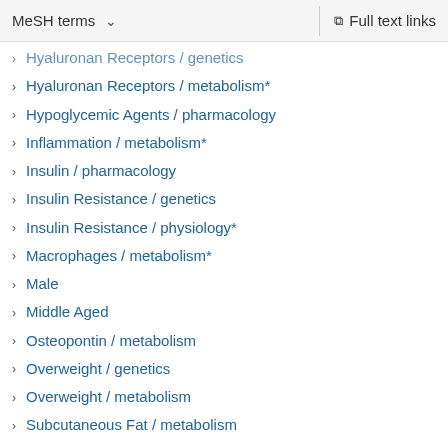MeSH terms   ∨   Full text links
Hyaluronan Receptors / genetics
Hyaluronan Receptors / metabolism*
Hypoglycemic Agents / pharmacology
Inflammation / metabolism*
Insulin / pharmacology
Insulin Resistance / genetics
Insulin Resistance / physiology*
Macrophages / metabolism*
Male
Middle Aged
Osteopontin / metabolism
Overweight / genetics
Overweight / metabolism
Subcutaneous Fat / metabolism
Substances
Hyaluronan Receptors